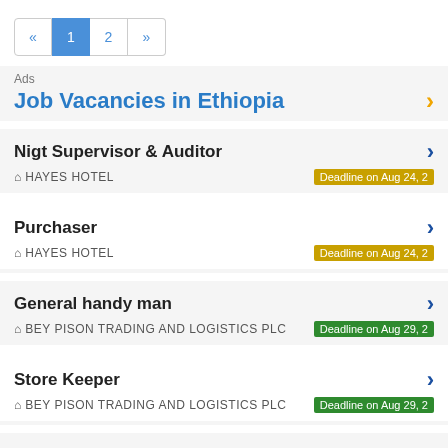« 1 2 »
Ads
Job Vacancies in Ethiopia
Nigt Supervisor & Auditor — HAYES HOTEL — Deadline on Aug 24, 2
Purchaser — HAYES HOTEL — Deadline on Aug 24, 2
General handy man — BEY PISON TRADING AND LOGISTICS PLC — Deadline on Aug 29, 2
Store Keeper — BEY PISON TRADING AND LOGISTICS PLC — Deadline on Aug 29, 2
Plumber